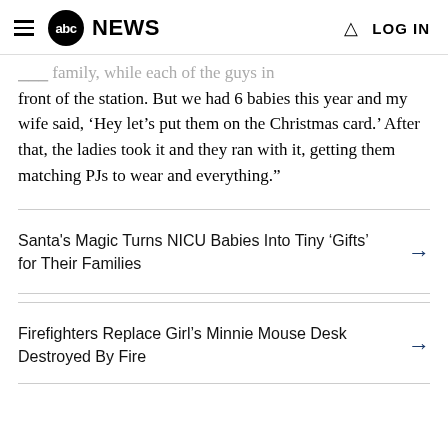abc NEWS  LOG IN
...family, while each of the guys in front of the station. But we had 6 babies this year and my wife said, ‘Hey let’s put them on the Christmas card.’ After that, the ladies took it and they ran with it, getting them matching PJs to wear and everything.”
Santa's Magic Turns NICU Babies Into Tiny ‘Gifts’ for Their Families →
Firefighters Replace Girl's Minnie Mouse Desk Destroyed By Fire →